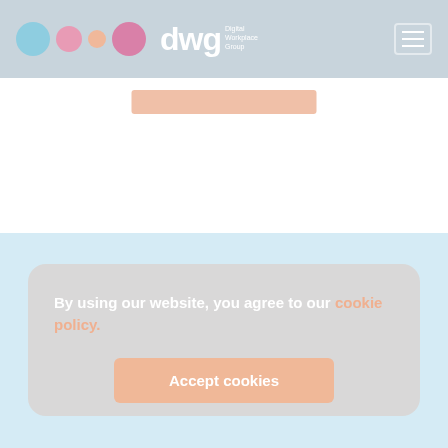DWG Digital Workplace Group header with logo circles and hamburger menu
[Figure (screenshot): DWG (Digital Workplace Group) website header with colored circles logo, dwg text logo, and hamburger menu on light blue-grey background]
By using our website, you agree to our cookie policy.
Accept cookies